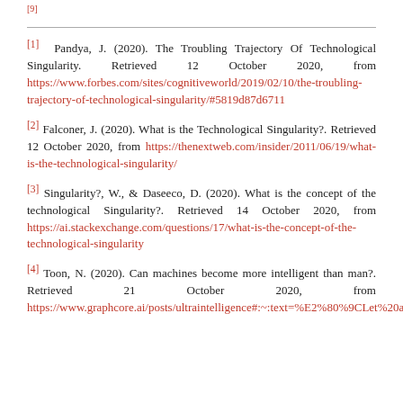[9]
[1] Pandya, J. (2020). The Troubling Trajectory Of Technological Singularity. Retrieved 12 October 2020, from https://www.forbes.com/sites/cognitiveworld/2019/02/10/the-troubling-trajectory-of-technological-singularity/#5819d87d6711
[2] Falconer, J. (2020). What is the Technological Singularity?. Retrieved 12 October 2020, from https://thenextweb.com/insider/2011/06/19/what-is-the-technological-singularity/
[3] Singularity?, W., & Daseeco, D. (2020). What is the concept of the technological Singularity?. Retrieved 14 October 2020, from https://ai.stackexchange.com/questions/17/what-is-the-concept-of-the-technological-singularity
[4] Toon, N. (2020). Can machines become more intelligent than man?. Retrieved 21 October 2020, from https://www.graphcore.ai/posts/ultraintelligence#:~:text=%E2%80%9CLet%20an%20ultra%2Dintelligent%20machine.of%20any%20man%20howeve